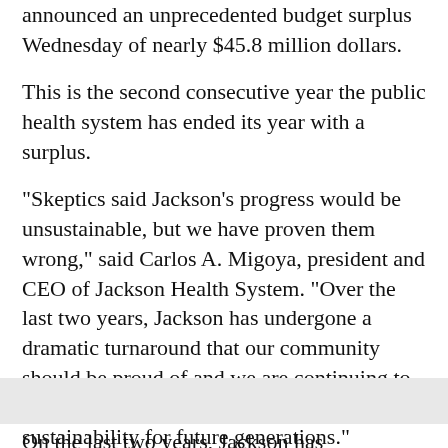announced an unprecedented budget surplus Wednesday of nearly $45.8 million dollars.
This is the second consecutive year the public health system has ended its year with a surplus.
"Skeptics said Jackson's progress would be unsustainable, but we have proven them wrong," said Carlos A. Migoya, president and CEO of Jackson Health System. "Over the last two years, Jackson has undergone a dramatic turnaround that our community should be proud of and we are continuing to work hard to secure Jackson's long-term sustainability for future generations."
On the last page, Jackson has successfully...